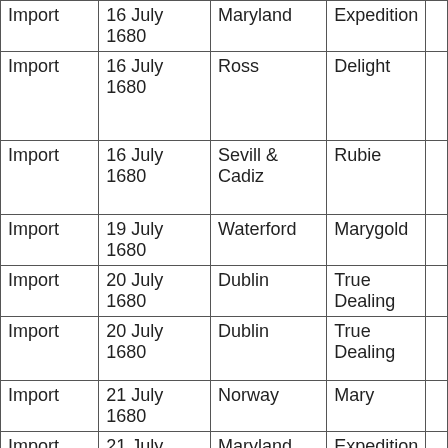| Import | 16 July 1680 | Maryland | Expedition |  |
| Import | 16 July 1680 | Ross | Delight |  |
| Import | 16 July 1680 | Sevill & Cadiz | Rubie |  |
| Import | 19 July 1680 | Waterford | Marygold |  |
| Import | 20 July 1680 | Dublin | True Dealing |  |
| Import | 20 July 1680 | Dublin | True Dealing |  |
| Import | 21 July 1680 | Norway | Mary |  |
| Import | 21 July 1680 | Maryland | Expedition |  |